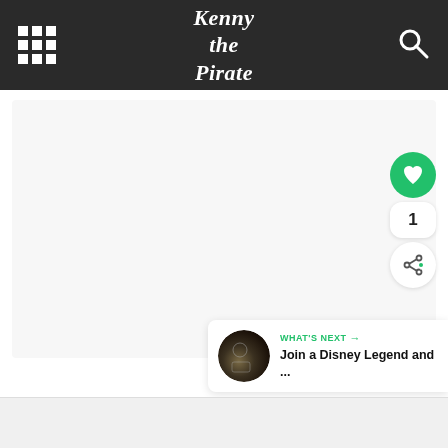Kenny the Pirate
[Figure (screenshot): Main content area of the Kenny the Pirate website, showing a light gray/white blank content region]
[Figure (infographic): Green circular heart (favorite) button with count of 1 and share button below it]
[Figure (infographic): What's Next card showing thumbnail image and text: Join a Disney Legend and ...]